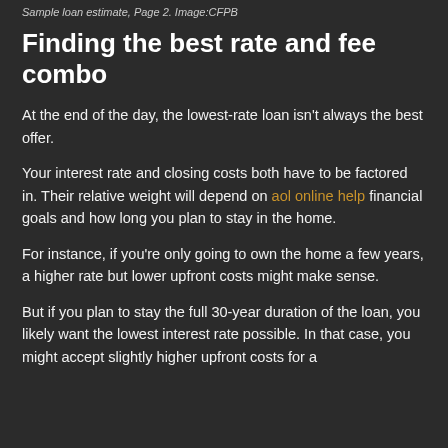Sample loan estimate, Page 2. Image:CFPB
Finding the best rate and fee combo
At the end of the day, the lowest-rate loan isn't always the best offer.
Your interest rate and closing costs both have to be factored in. Their relative weight will depend on aol online help financial goals and how long you plan to stay in the home.
For instance, if you're only going to own the home a few years, a higher rate but lower upfront costs might make sense.
But if you plan to stay the full 30-year duration of the loan, you likely want the lowest interest rate possible. In that case, you might accept slightly higher upfront costs for a